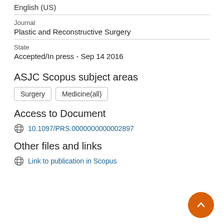English (US)
Journal
Plastic and Reconstructive Surgery
State
Accepted/In press - Sep 14 2016
ASJC Scopus subject areas
Surgery
Medicine(all)
Access to Document
10.1097/PRS.0000000000002897
Other files and links
Link to publication in Scopus